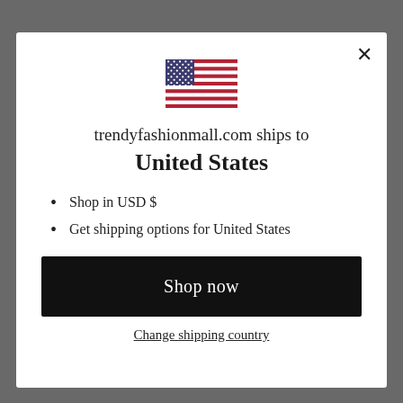[Figure (screenshot): Background website page (trendyfashionmall.com) partially obscured by modal overlay]
[Figure (illustration): United States flag SVG illustration in the center of modal]
trendyfashionmall.com ships to
United States
Shop in USD $
Get shipping options for United States
Shop now
Change shipping country